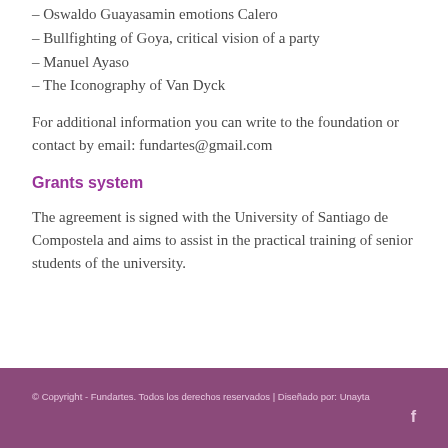– Oswaldo Guayasamin emotions Calero
– Bullfighting of Goya, critical vision of a party
– Manuel Ayaso
– The Iconography of Van Dyck
For additional information you can write to the foundation or contact by email: fundartes@gmail.com
Grants system
The agreement is signed with the University of Santiago de Compostela and aims to assist in the practical training of senior students of the university.
© Copyright - Fundartes. Todos los derechos reservados | Diseñado por: Unayta